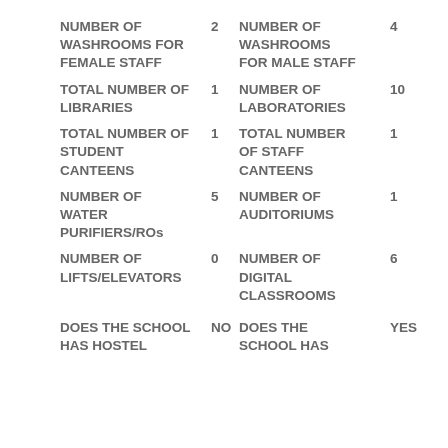NUMBER OF WASHROOMS FOR FEMALE STAFF: 2
NUMBER OF WASHROOMS FOR MALE STAFF: 4
TOTAL NUMBER OF LIBRARIES: 1
NUMBER OF LABORATORIES: 10
TOTAL NUMBER OF STUDENT CANTEENS: 1
TOTAL NUMBER OF STAFF CANTEENS: 1
NUMBER OF WATER PURIFIERS/ROs: 5
NUMBER OF AUDITORIUMS: 1
NUMBER OF LIFTS/ELEVATORS: 0
NUMBER OF DIGITAL CLASSROOMS: 6
DOES THE SCHOOL HAS HOSTEL: NO
DOES THE SCHOOL HAS: YES